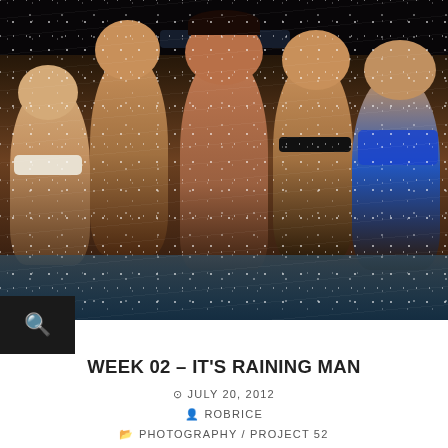[Figure (photo): Group photo of five people (one man and four women) in a pool or hot tub at night, splashing water, laughing and posing. Rain or water spray visible throughout. Man is centered, stoic expression; women are laughing around him.]
WEEK 02 – IT'S RAINING MAN
JULY 20, 2012
ROBRICE
PHOTOGRAPHY / PROJECT 52